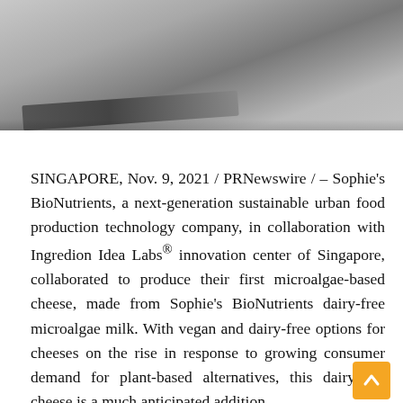[Figure (photo): A close-up photo showing a metallic or foil package on a grey concrete or stone surface. The background is grey textured. A dark metallic/silver strip is visible at the bottom of the frame.]
SINGAPORE, Nov. 9, 2021 / PRNewswire / – Sophie's BioNutrients, a next-generation sustainable urban food production technology company, in collaboration with Ingredion Idea Labs® innovation center of Singapore, collaborated to produce their first microalgae-based cheese, made from Sophie's BioNutrients dairy-free microalgae milk. With vegan and dairy-free options for cheeses on the rise in response to growing consumer demand for plant-based alternatives, this dairy-free cheese is a much anticipated addition.